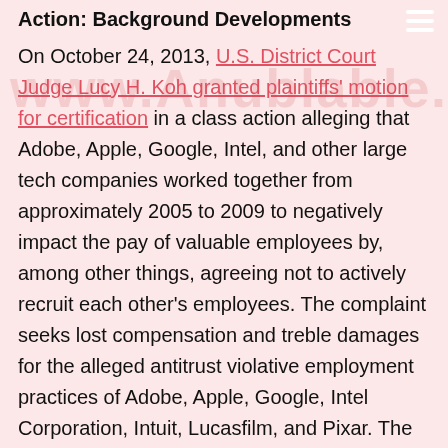Action: Background Developments
On October 24, 2013, U.S. District Court Judge Lucy H. Koh granted plaintiffs' motion for certification in a class action alleging that Adobe, Apple, Google, Intel, and other large tech companies worked together from approximately 2005 to 2009 to negatively impact the pay of valuable employees by, among other things, agreeing not to actively recruit each other's employees. The complaint seeks lost compensation and treble damages for the alleged antitrust violative employment practices of Adobe, Apple, Google, Intel Corporation, Intuit, Lucasfilm, and Pixar. The complaint states the tech companies formed agreements to (1) not recruit each other's employees; (2) provide notification when making an offer to another's employee (without the knowledge